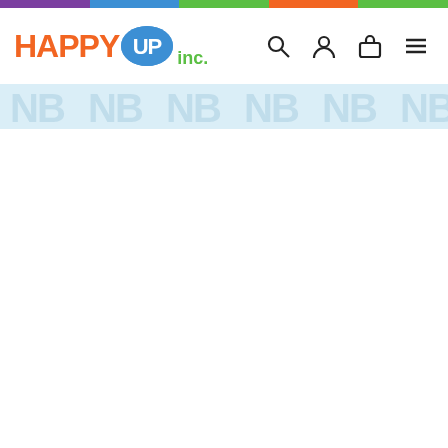[Figure (logo): Happy Up Inc. logo with orange HAPPY text, blue speech bubble containing white UP text, and green INC. text]
[Figure (infographic): Decorative banner strip with light blue background and repeating watermark-style AI or NB letter patterns]